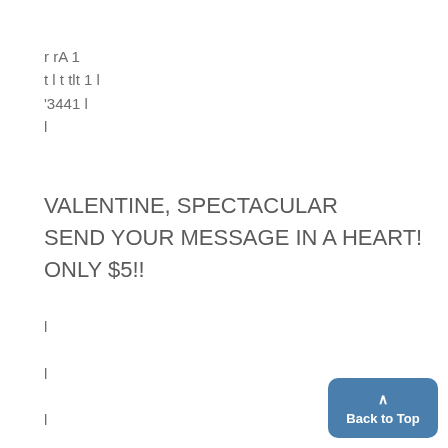r rA 1
t l t tlt 1 l
'3441 l
l
VALENTINE, SPECTACULAR
SEND YOUR MESSAGE IN A HEART!
ONLY $5!!
l
l
l
l
[Figure (other): Blue 'Back to Top' button with upward arrow chevron in the bottom-right corner]